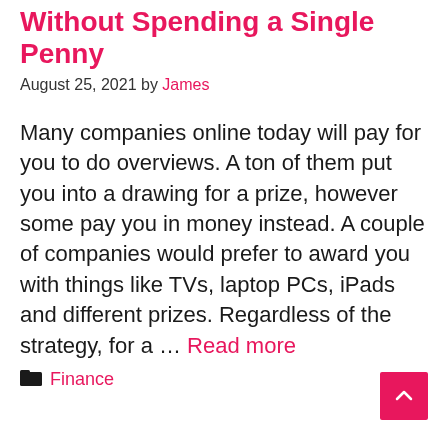Without Spending a Single Penny
August 25, 2021 by James
Many companies online today will pay for you to do overviews. A ton of them put you into a drawing for a prize, however some pay you in money instead. A couple of companies would prefer to award you with things like TVs, laptop PCs, iPads and different prizes. Regardless of the strategy, for a … Read more
Finance